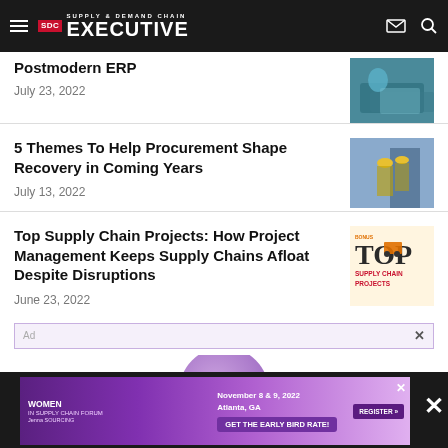Supply & Demand Chain Executive
Postmodern ERP
July 23, 2022
5 Themes To Help Procurement Shape Recovery in Coming Years
July 13, 2022
Top Supply Chain Projects: How Project Management Keeps Supply Chains Afloat Despite Disruptions
June 23, 2022
[Figure (illustration): Women in Supply Chain Forum advertisement banner: November 8 & 9, 2022, Atlanta, GA. Get the Early Bird Rate! Register button.]